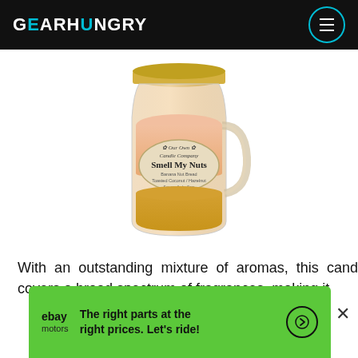GEARHUNGRY
[Figure (photo): A mason jar mug candle by 'Our Own Candle Company' labeled 'Smell My Nuts' with banana nut bread, toasted coconut, and hazelnut scents. The candle has a layered amber/peach color and a gold lid.]
With an outstanding mixture of aromas, this candle covers a broad spectrum of fragrances, making it
[Figure (infographic): eBay Motors advertisement banner with green background. Text reads: 'The right parts at the right prices. Let's ride!' with an arrow circle button.]